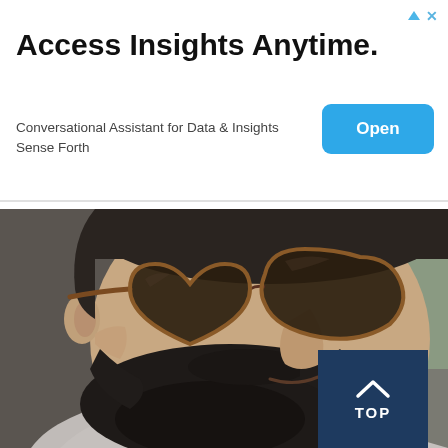[Figure (infographic): Advertisement banner with text 'Access Insights Anytime.' and subtitle 'Conversational Assistant for Data & Insights Sense Forth', with a blue 'Open' button, and ad icons (arrow and X) in top right.]
Access Insights Anytime.
Conversational Assistant for Data & Insights
Sense Forth
[Figure (photo): Side-profile photo of a man with a dark beard and mustache, wearing tortoiseshell heart-shaped sunglasses and a grey t-shirt, photographed outdoors.]
TOP